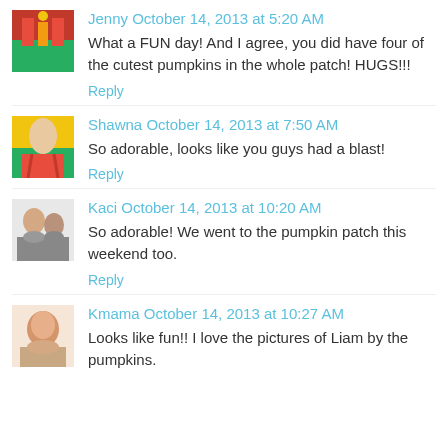Jenny October 14, 2013 at 5:20 AM
What a FUN day! And I agree, you did have four of the cutest pumpkins in the whole patch! HUGS!!!
Reply
Shawna October 14, 2013 at 7:50 AM
So adorable, looks like you guys had a blast!
Reply
Kaci October 14, 2013 at 10:20 AM
So adorable! We went to the pumpkin patch this weekend too.
Reply
Kmama October 14, 2013 at 10:27 AM
Looks like fun!! I love the pictures of Liam by the pumpkins.